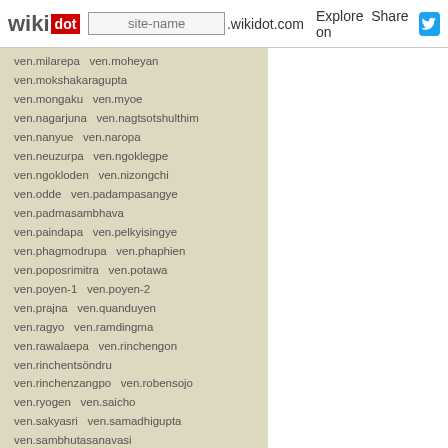wikidot | site-name .wikidot.com | Explore | Share on
ven.milarepa  ven.moheyan
ven.mokshakaragupta
ven.mongaku  ven.myoe
ven.nagarjuna  ven.nagtsotshulthim
ven.nanyue  ven.naropa
ven.neuzurpa  ven.ngoklegpe
ven.ngokloden  ven.nizongchi
ven.odde  ven.padampasangye
ven.padmasambhava
ven.paindapa  ven.pelkyisingye
ven.phagmodrupa  ven.phaphien
ven.poposrimitra  ven.potawa
ven.poyen-1  ven.poyen-2
ven.prajna  ven.quanduyen
ven.ragyo  ven.ramdingma
ven.rawalaepa  ven.rinchengon
ven.rinchentsöndru
ven.rinchenzangpo  ven.robensojo
ven.ryogen  ven.saicho
ven.sakyasri  ven.samadhigupta
ven.sambhutasanavasi
ven.sanghavarman
ven.sangyewonton  ven.sanin
ven.sankaracharya
ven.sarvanjyasanti
ven.seltongshogom
ven.shakyawangchuk
ven.shakyayeshe  ven.shandao
ven.shangchublingpa
ven.shantarakshita  ven.shemoteng
ven.shenmo  ven.shenxiu